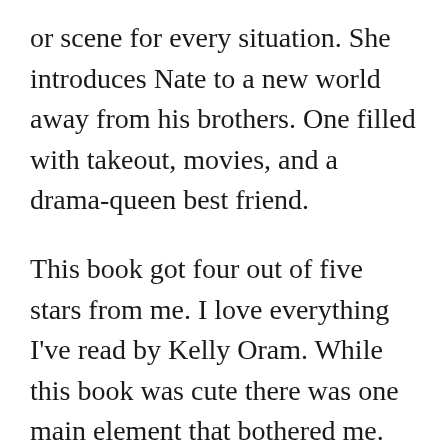or scene for every situation. She introduces Nate to a new world away from his brothers. One filled with takeout, movies, and a drama-queen best friend.
This book got four out of five stars from me. I love everything I've read by Kelly Oram. While this book was cute there was one main element that bothered me. Since this is a romance novel and a matchmaker places Jordan and Nate together early on in the book, I would rather have read more about their relationship as it develops. However, for most of the novel, Nate is actually dating